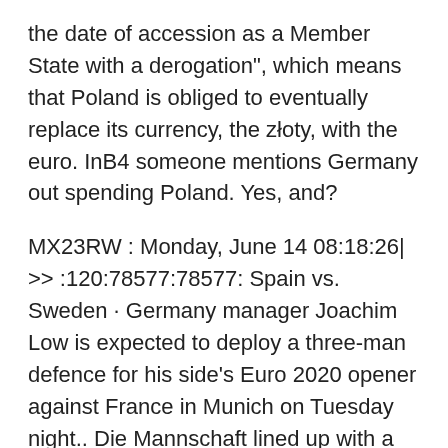the date of accession as a Member State with a derogation", which means that Poland is obliged to eventually replace its currency, the złoty, with the euro. InB4 someone mentions Germany out spending Poland. Yes, and?
MX23RW : Monday, June 14 08:18:26| >> :120:78577:78577: Spain vs. Sweden · Germany manager Joachim Low is expected to deploy a three-man defence for his side's Euro 2020 opener against France in Munich on Tuesday night.. Die Mannschaft lined up with a trio of central UEFA EURO 2020 Matches Matches Poland POL --Slovakia SVK See more. Group E. Spain France-Germany UEFA EURO 2020 .
Austria, Belgium, Croatia, Czech Republic, Denmark,